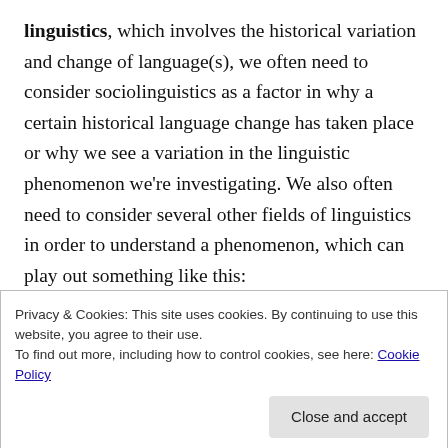linguistics, which involves the historical variation and change of language(s), we often need to consider sociolinguistics as a factor in why a certain historical language change has taken place or why we see a variation in the linguistic phenomenon we're investigating. We also often need to consider several other fields of linguistics in order to understand a phenomenon, which can play out something like this:
Is this strange spelling variation found in this 16th century letter because it was pronounced differently (phonetics, phonology), and if so, was it because of a
Privacy & Cookies: This site uses cookies. By continuing to use this website, you agree to their use.
To find out more, including how to control cookies, see here: Cookie Policy
triggered by an earlier different change, or did it arise